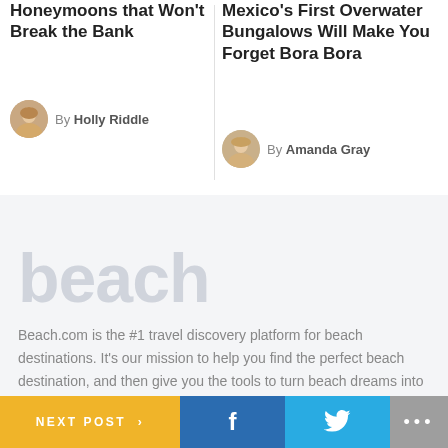Honeymoons that Won't Break the Bank
By Holly Riddle
Mexico's First Overwater Bungalows Will Make You Forget Bora Bora
By Amanda Gray
beach
Beach.com is the #1 travel discovery platform for beach destinations. It's our mission to help you find the perfect beach destination, and then give you the tools to turn beach dreams into beach days. We partner with destinations for beach cleanups and conservation efforts to ensure beautiful beaches will be enjoyed for generations to come.
NEXT POST > | f | (Twitter bird) | ...